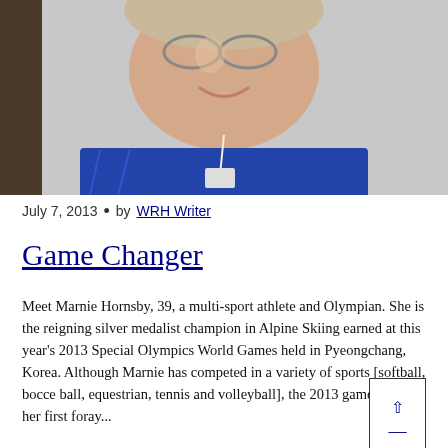[Figure (photo): Close-up photo of a smiling young woman wearing glasses and a blue athletic uniform with a lanyard/credential. The photo is cropped to show her face and upper torso against a neutral background.]
July 7, 2013  •  by WRH Writer
Game Changer
Meet Marnie Hornsby, 39, a multi-sport athlete and Olympian. She is the reigning silver medalist champion in Alpine Skiing earned at this year's 2013 Special Olympics World Games held in Pyeongchang, Korea. Although Marnie has competed in a variety of sports [softball, bocce ball, equestrian, tennis and volleyball], the 2013 games were her first foray...